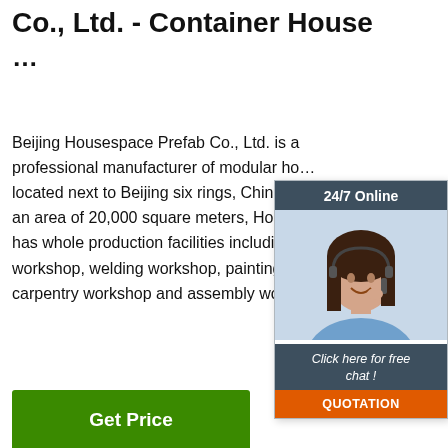Co., Ltd. - Container House ...
Beijing Housespace Prefab Co., Ltd. is a professional manufacturer of modular ho... located next to Beijing six rings, China. C... an area of 20,000 square meters, House... has whole production facilities including workshop, welding workshop, painting w... carpentry workshop and assembly works...
[Figure (infographic): Chat widget with '24/7 Online' header, a woman with headset, 'Click here for free chat!' text, and orange QUOTATION button]
[Figure (photo): Photo of steel/metal cylindrical bars/pipes on ground with 'TOP' orange badge overlay]
Get Price